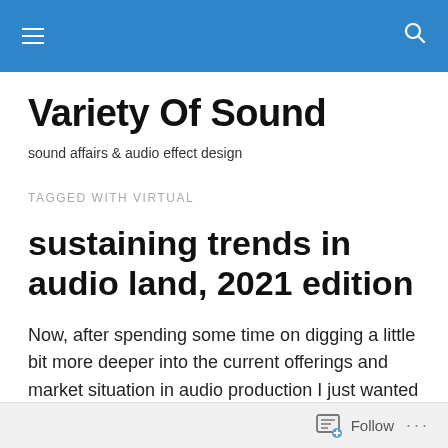Variety Of Sound — navigation bar
Variety Of Sound
sound affairs & audio effect design
TAGGED WITH VIRTUAL
sustaining trends in audio land, 2021 edition
Now, after spending some time on digging a little bit more deeper into the current offerings and market situation in audio production I just wanted to briefly outline some of
Follow ...